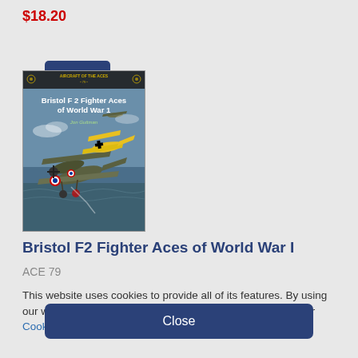$18.20
More info
[Figure (illustration): Book cover: Bristol F2 Fighter Aces of World War 1, showing WWI biplanes in aerial combat, published in Osprey Aircraft of the Aces series, illustrated with olive-green British and yellow German aircraft.]
Bristol F2 Fighter Aces of World War I
ACE 79
This website uses cookies to provide all of its features. By using our website you consent to all cookies in accordance with our Cookie Policy.
Close